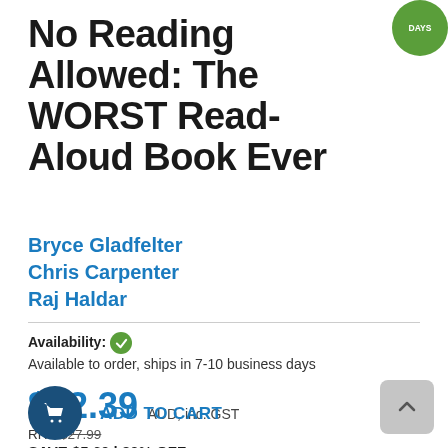No Reading Allowed: The WORST Read-Aloud Book Ever
Bryce Gladfelter
Chris Carpenter
Raj Haldar
Availability: Available to order, ships in 7-10 business days
$22.39 AUD, inc. GST
RRP $27.99
SAVE $5.60 | 20% OFF
ADD TO CART